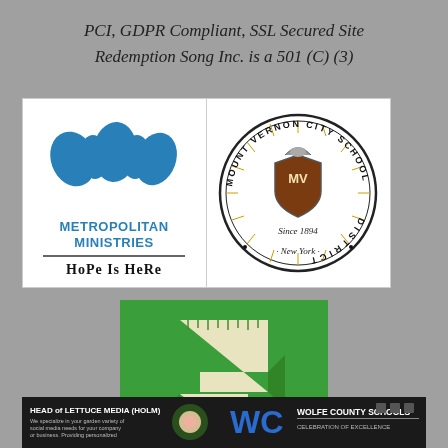PCI, GDPR Compliant, SSL Secured Site
Redemption Song Inc. is a 501 (C) (3)
[Figure (logo): Metropolitan Ministries logo with blue hand-drawn M and text HOPE IS HERE]
[Figure (logo): Mount Vernon City School District seal, Since 1894, New York]
[Figure (logo): Green background with stylized white/cream zigzag S shape with ruler markings]
[Figure (logo): Head of Lettuce Media (HOLM) dark background logo with rose]
[Figure (logo): Wolfe County Schools logo on dark background]